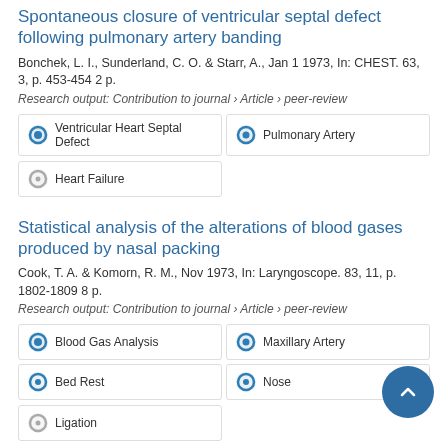Spontaneous closure of ventricular septal defect following pulmonary artery banding
Bonchek, L. I., Sunderland, C. O. & Starr, A., Jan 1 1973, In: CHEST. 63, 3, p. 453-454 2 p.
Research output: Contribution to journal › Article › peer-review
Ventricular Heart Septal Defect
Pulmonary Artery
Heart Failure
Statistical analysis of the alterations of blood gases produced by nasal packing
Cook, T. A. & Komorn, R. M., Nov 1973, In: Laryngoscope. 83, 11, p. 1802-1809 8 p.
Research output: Contribution to journal › Article › peer-review
Blood Gas Analysis
Maxillary Artery
Bed Rest
Nose
Ligation